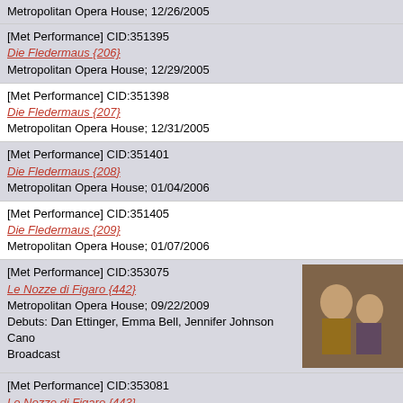Metropolitan Opera House; 12/26/2005
[Met Performance] CID:351395
Die Fledermaus {206}
Metropolitan Opera House; 12/29/2005
[Met Performance] CID:351398
Die Fledermaus {207}
Metropolitan Opera House; 12/31/2005
[Met Performance] CID:351401
Die Fledermaus {208}
Metropolitan Opera House; 01/04/2006
[Met Performance] CID:351405
Die Fledermaus {209}
Metropolitan Opera House; 01/07/2006
[Met Performance] CID:353075
Le Nozze di Figaro {442}
Metropolitan Opera House; 09/22/2009
Debuts: Dan Ettinger, Emma Bell, Jennifer Johnson Cano
Broadcast
[Met Performance] CID:353081
Le Nozze di Figaro {443}
Metropolitan Opera House; 09/26/2009
[Met Performance] CID:353089
Le Nozze di Figaro {444}
Metropolitan Opera House; 10/01/2009
[Met Performance] CID:353097